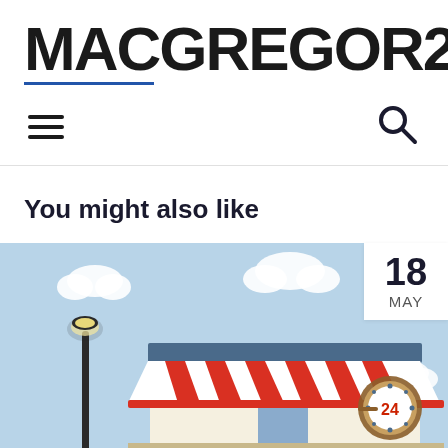[Figure (logo): MACGREGOR26 logo with blue underline accent]
[Figure (illustration): Navigation bar with hamburger menu icon on left and search magnifying glass icon on right]
You might also like
[Figure (illustration): Illustration of a storefront/shop with red and white striped awning, blue sky, white clouds, a street lamp on the left, and a 24-hour clock badge on the right. Date badge showing '18 MAY' in top right corner.]